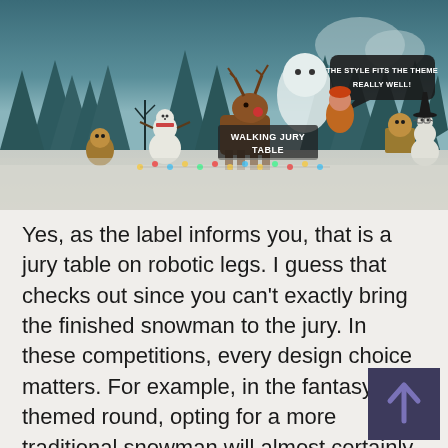[Figure (screenshot): Screenshot from a winter-themed snowman building game. The scene shows a snowy landscape with dark teal pine trees in the background. Characters include a reindeer, a ghost-like figure, a person in orange, a witch snowman, and a regular snowman. A speech bubble reads 'THE STYLE FITS THE THEME REALLY WELL!' and a label on the scene reads 'WALKING JURY TABLE'.]
Yes, as the label informs you, that is a jury table on robotic legs. I guess that checks out since you can't exactly bring the finished snowman to the jury. In these competitions, every design choice matters. For example, in the fantasy-themed round, opting for a more traditional snowman will almost certainly result in getting docked points. But that's not all - the build of your snowman needs to check out